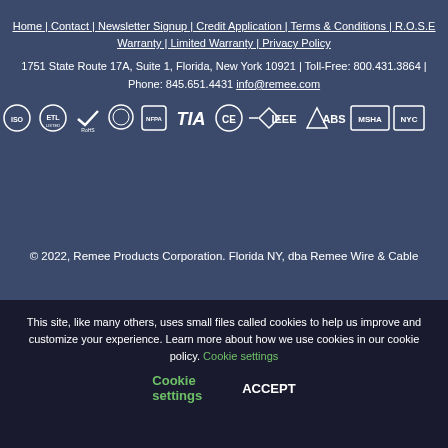Home | Contact | Newsletter Signup | Credit Application | Terms & Conditions | R.O.S.E Warranty | Limited Warranty | Privacy Policy
1751 State Route 17A, Suite 1, Florida, New York 10921 | Toll-Free: 800.431.3864 | Phone: 845.651.4431 info@remee.com
[Figure (logo): Row of certification/standards logos: ISO, ETL, RoHS checkmark, circular logo, NFPA, TIA, CE, IEEE diamond, ABS, MSHA, NYC]
© 2022, Remee Products Corporation. Florida NY, dba Remee Wire & Cable
This site, like many others, uses small files called cookies to help us improve and customize your experience. Learn more about how we use cookies in our cookie policy. Cookie settings ACCEPT